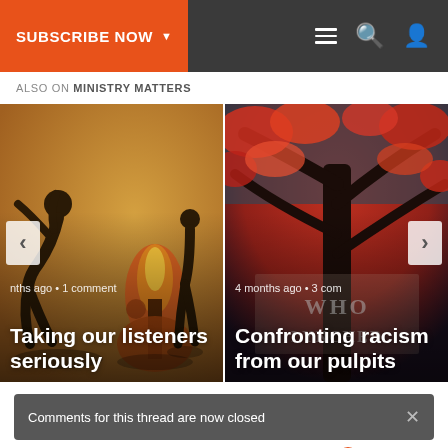SUBSCRIBE NOW | navigation icons
ALSO ON MINISTRY MATTERS
[Figure (screenshot): Carousel of two article cards. Left card: illustrated silhouette of person before fire/tree on golden background, overlay text 'Taking our listeners seriously', meta 'ths ago • 1 comment'. Right card: red autumn tree photo with book overlay, 'Confronting racism from our pulpits', meta '4 months ago • 3 com'. Previous/Next navigation arrows visible.]
Comments for this thread are now closed
Comments   Community   🔒   1   Login
♡ Favorite  5    Sort by Best ▾